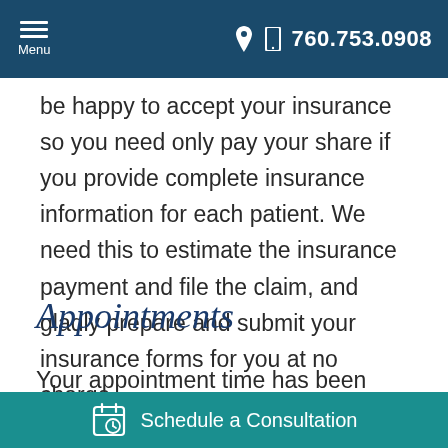Menu | 760.753.0908
be happy to accept your insurance so you need only pay your share if you provide complete insurance information for each patient. We need this to estimate the insurance payment and file the claim, and gladly prepare and submit your insurance forms for you at no charge.
Appointments
Your appointment time has been reserved just for
Schedule a Consultation